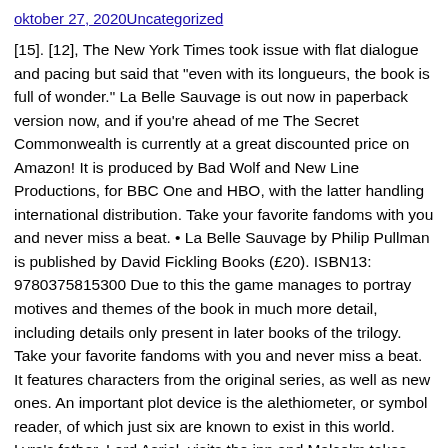oktober 27, 2020Uncategorized
[15]. [12], The New York Times took issue with flat dialogue and pacing but said that "even with its longueurs, the book is full of wonder." La Belle Sauvage is out now in paperback version now, and if you're ahead of me The Secret Commonwealth is currently at a great discounted price on Amazon! It is produced by Bad Wolf and New Line Productions, for BBC One and HBO, with the latter handling international distribution. Take your favorite fandoms with you and never miss a beat. • La Belle Sauvage by Philip Pullman is published by David Fickling Books (£20). ISBN13: 9780375815300 Due to this the game manages to portray motives and themes of the book in much more detail, including details only present in later books of the trilogy. Take your favorite fandoms with you and never miss a beat. It features characters from the original series, as well as new ones. An important plot device is the alethiometer, or symbol reader, of which just six are known to exist in this world. Lyra's father, Lord Asriel, visits the inn and Malcolm takes him to visit Lyra. The setting is a world dominated by the Magisterium (commonly called "the Church") an international theocracy which actively suppresses heresy. Nur Huda el-Wahabi has appeared in the following books: La Belle Sauvage (The Book of Dust, #1) They intend to stop at Jordan College to seek academic sanctuary for Lyra, but are prevented by the ferocity of the floodwaters. A man named Gerard Bonneville arrives at the